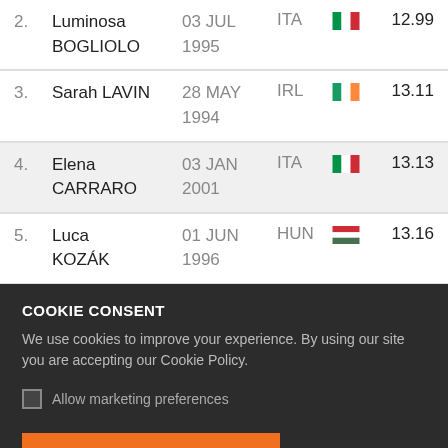| Rank | Name | Date of Birth | Country | Flag | Result |
| --- | --- | --- | --- | --- | --- |
| 2. | Luminosa BOGLIOLO | 03 JUL 1995 | ITA | 🇮🇹 | 12.99 |
| 3. | Sarah LAVIN | 28 MAY 1994 | IRL | 🇮🇪 | 13.11 |
| 4. | Elena CARRARO | 03 JAN 2001 | ITA | 🇮🇹 | 13.13 |
| 5. | Luca KOZÁK | 01 JUN 1996 | HUN | 🇭🇺 | 13.16 |
COOKIE CONSENT
We use cookies to improve your experience. By using our site you are accepting our Cookie Policy.
Allow marketing preferences
Continue